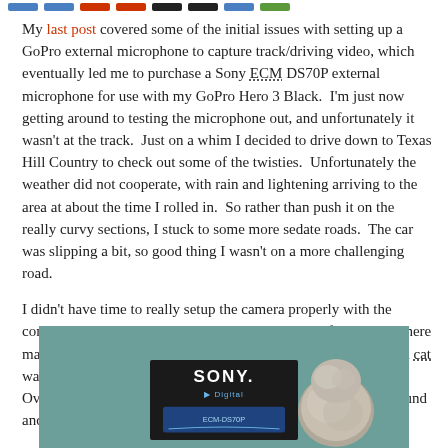[navigation bar with colored links]
My last post covered some of the initial issues with setting up a GoPro external microphone to capture track/driving video, which eventually led me to purchase a Sony ECM DS70P external microphone for use with my GoPro Hero 3 Black. I'm just now getting around to testing the microphone out, and unfortunately it wasn't at the track. Just on a whim I decided to drive down to Texas Hill Country to check out some of the twisties. Unfortunately the weather did not cooperate, with rain and lightening arriving to the area at about the time I rolled in. So rather than push it on the really curvy sections, I stuck to some more sedate roads. The car was slipping a bit, so good thing I wasn't on a more challenging road.
I didn't have time to really setup the camera properly with the coming rain, and I was just doing this on the side of the road. There may be a little bit too much noise from the water spray (the dead cat was wet when I finally stopped) but I think you get the idea. Overall, seems as though the Sony mic did a tad bit better on sound and wasn't broken at the end of the test like the Chinese copy.
[Figure (photo): Photo of a Sony ECM DS70P external microphone box on a teal/green background, with a furry windscreen (dead cat) visible to the right.]